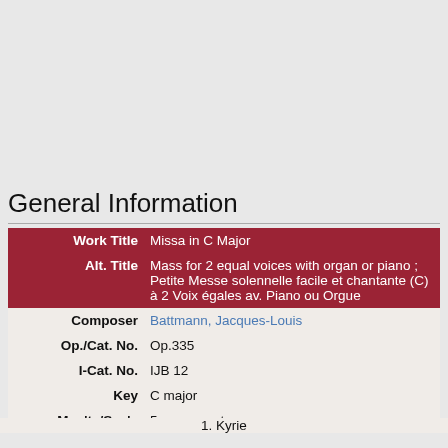General Information
| Field | Value |
| --- | --- |
| Work Title | Missa in C Major |
| Alt. Title | Mass for 2 equal voices with organ or piano ; Petite Messe solennelle facile et chantante (C) à 2 Voix égales av. Piano ou Orgue |
| Composer | Battmann, Jacques-Louis |
| Op./Cat. No. | Op.335 |
| I-Cat. No. | IJB 12 |
| Key | C major |
| Mov'ts/Sec's | 5 movements: |
1. Kyrie